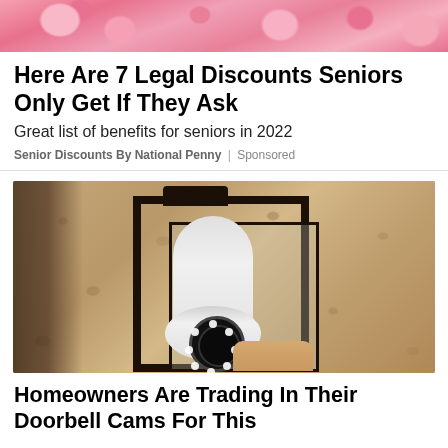[Figure (photo): Pink floral background image cropped at top of page]
Here Are 7 Legal Discounts Seniors Only Get If They Ask
Great list of benefits for seniors in 2022
Senior Discounts By National Penny | Sponsored
[Figure (photo): Security camera shaped like a light bulb installed inside an outdoor lantern fixture mounted on a stone/stucco wall. A hand is holding the camera from below.]
Homeowners Are Trading In Their Doorbell Cams For This